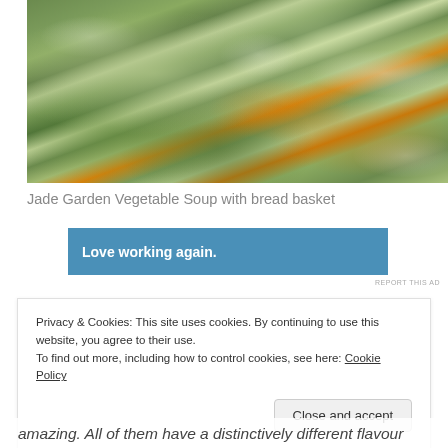[Figure (photo): Close-up photo of Jade Garden Vegetable Soup showing green broth with chopped vegetables including carrots (orange pieces), celery, herbs and white chunks]
Jade Garden Vegetable Soup with bread basket
[Figure (other): Blue advertisement banner with white bold text: Love working again.]
REPORT THIS AD
Privacy & Cookies: This site uses cookies. By continuing to use this website, you agree to their use.
To find out more, including how to control cookies, see here: Cookie Policy
Close and accept
amazing. All of them have a distinctively different flavour